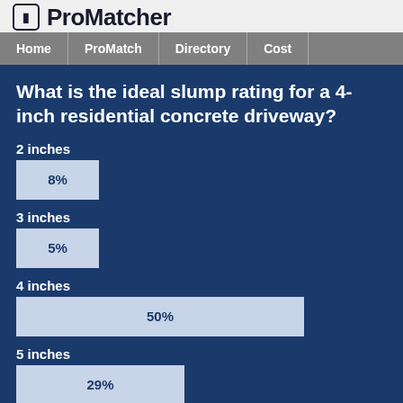ProMatcher
Home | ProMatch | Directory | Cost
What is the ideal slump rating for a 4-inch residential concrete driveway?
[Figure (bar-chart): What is the ideal slump rating for a 4-inch residential concrete driveway?]